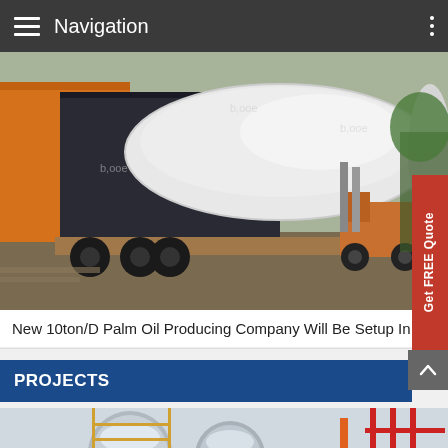Navigation
[Figure (photo): A large white cylindrical industrial tank being loaded or unloaded from an orange and dark truck using a forklift on a construction/industrial site]
New 10ton/D Palm Oil Producing Company Will Be Setup In Niger
PROJECTS
[Figure (photo): Industrial palm oil processing plant equipment with stainless steel tanks, pipes, and red metal scaffolding/framework]